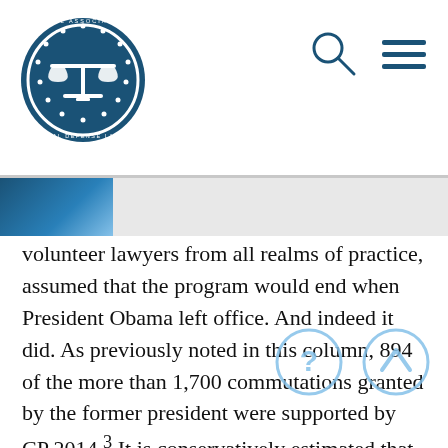National Association of Criminal Defense Lawyers logo with search and menu icons
volunteer lawyers from all realms of practice, assumed that the program would end when President Obama left office. And indeed it did. As previously noted in this column, 894 of the more than 1,700 commutations granted by the former president were supported by CP 2014.³ It is conservatively estimated that this effort saved more than 13,000 years of imprisonment and in excess of $430 million in incarceration costs. Most importantly, the gift of early release reunited thousands of family members.